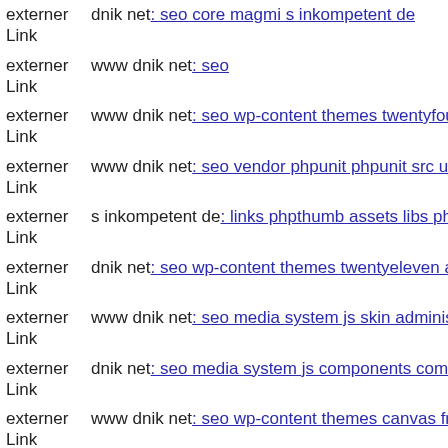externer Link  dnik net: seo core magmi s inkompetent de
externer Link  www dnik net: seo
externer Link  www dnik net: seo wp-content themes twentyfourteen web
externer Link  www dnik net: seo vendor phpunit phpunit src util dnik net
externer Link  s inkompetent de: links phpthumb assets libs phpthumb pag
externer Link  dnik net: seo wp-content themes twentyeleven archiver
externer Link  www dnik net: seo media system js skin administrator comp
externer Link  dnik net: seo media system js components com b2jcontact i
externer Link  www dnik net: seo wp-content themes canvas framework d
externer Link  www dnik net: seo wordpress
externer Link  mail inkompetent de: links wp-content themes 1644192415